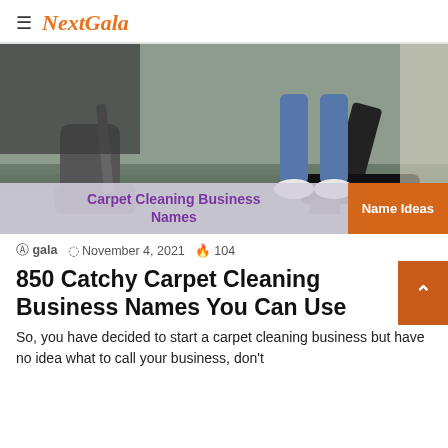NextGala
[Figure (photo): Person vacuuming a gray carpet with a black vacuum cleaner. Overlay text reads 'Carpet Cleaning Business Names' in purple on a gray-white background, with an orange badge reading 'Name Ideas'.]
gala  November 4, 2021  104
850 Catchy Carpet Cleaning Business Names You Can Use
So, you have decided to start a carpet cleaning business but have no idea what to call your business, don't